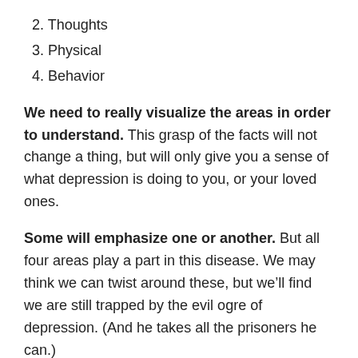2. Thoughts
3. Physical
4. Behavior
We need to really visualize the areas in order to understand. This grasp of the facts will not change a thing, but will only give you a sense of what depression is doing to you, or your loved ones.
Some will emphasize one or another. But all four areas play a part in this disease. We may think we can twist around these, but we’ll find we are still trapped by the evil ogre of depression. (And he takes all the prisoners he can.)
We are hostages to this sickness. Depression truly destroys lives and hopes. It comes uninvited,